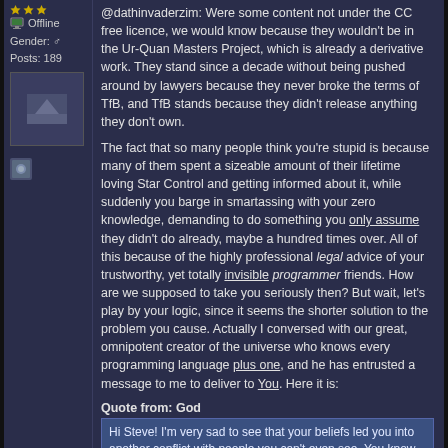Offline
Gender: ♂
Posts: 189
[Figure (photo): User avatar image placeholder]
[Figure (photo): Small icon]
@dathinvaderzim: Were some content not under the CC free licence, we would know because they wouldn't be in the Ur-Quan Masters Project, which is already a derivative work. They stand since a decade without being pushed around by lawyers because they never broke the terms of TfB, and TfB stands because they didn't release anything they don't own.
The fact that so many people think you're stupid is because many of them spent a sizeable amount of their lifetime loving Star Control and getting informed about it, while suddenly you barge in smartassing with your zero knowledge, demanding to do something you only assume they didn't do already, maybe a hundred times over. All of this because of the highly professional legal advice of your trustworthy, yet totally invisible programmer friends. How are we supposed to take you seriously then? But wait, let's play by your logic, since it seems the shorter solution to the problem you cause. Actually I conversed with our great, omnipotent creator of the universe who knows every programming language plus one, and he has entrusted a message to me to deliver to You. Here it is:
Quote from: God
Hi Steve! I'm very sad to see that your beliefs led you into another conflict with people you can't even see. You know you're not right, and more importantly I know you're not right. You lack